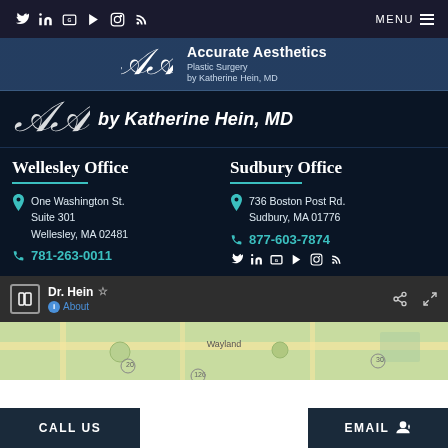Social icons: Twitter, LinkedIn, Google, YouTube, Instagram, RSS | MENU
[Figure (logo): Accurate Aesthetics Plastic Surgery by Katherine Hein, MD logo with decorative script emblem]
by Katherine Hein, MD
Wellesley Office
One Washington St.
Suite 301
Wellesley, MA 02481
781-263-0011
Sudbury Office
736 Boston Post Rd.
Sudbury, MA 01776
877-603-7874
[Figure (screenshot): Google Maps panel showing Dr. Hein listing with About link and share/expand icons]
[Figure (map): Google Maps showing Wayland area with route 20 and 126 visible]
CALL US | EMAIL